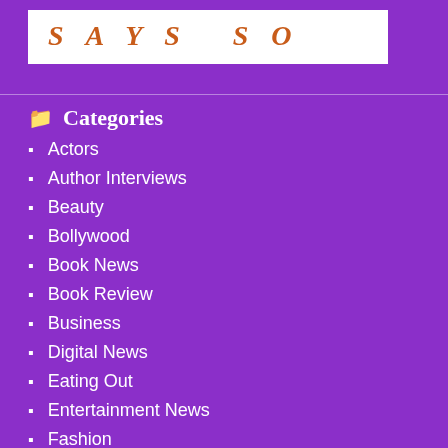[Figure (logo): Website logo with stylized text 'says so' in orange italic serif font on white background]
Categories
Actors
Author Interviews
Beauty
Bollywood
Book News
Book Review
Business
Digital News
Eating Out
Entertainment News
Fashion
Fashion Review (partial)